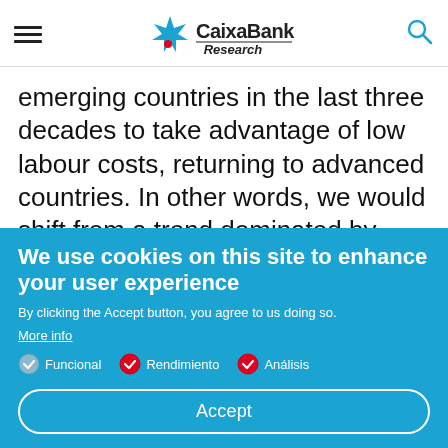CaixaBank Research
emerging countries in the last three decades to take advantage of low labour costs, returning to advanced countries. In other words, we would shift from a trend dominated by offshoring to one of reshoring.
We use cookies on this site to enhance your user experience
By clicking the Accept button, you agree to us doing so.
More info
Funcional
Rendimiento
Análisis
Accept